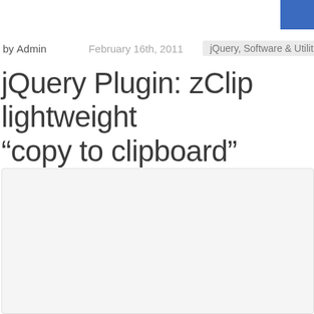by Admin   February 16th, 2011   jQuery, Software & Utilities, Te
jQuery Plugin: zClip lightweight "copy to clipboard" Plugin
[Figure (other): Light gray content area box, empty]